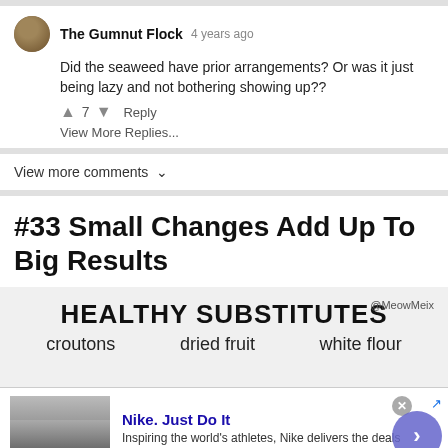The Gumnut Flock  4 years ago
Did the seaweed have prior arrangements? Or was it just being lazy and not bothering showing up??
↑ 7 ↓  Reply
View More Replies...
View more comments ∨
#33 Small Changes Add Up To Big Results
[Figure (infographic): Healthy Substitutes infographic showing croutons, dried fruit, white flour with @MeowMeix credit]
[Figure (screenshot): Nike. Just Do It advertisement. Inspiring the world's athletes, Nike delivers the deals. www.nike.com]